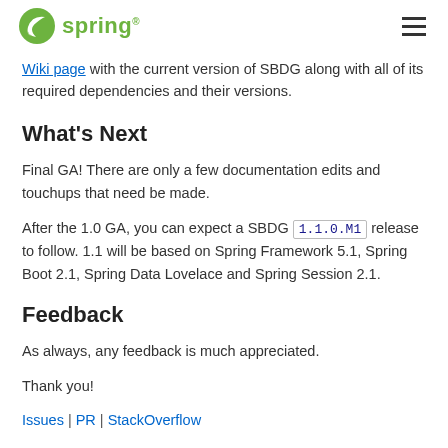spring (logo) | hamburger menu
Wiki page with the current version of SBDG along with all of its required dependencies and their versions.
What’s Next
Final GA! There are only a few documentation edits and touchups that need be made.
After the 1.0 GA, you can expect a SBDG 1.1.0.M1 release to follow. 1.1 will be based on Spring Framework 5.1, Spring Boot 2.1, Spring Data Lovelace and Spring Session 2.1.
Feedback
As always, any feedback is much appreciated.
Thank you!
Issues | PR | StackOverflow